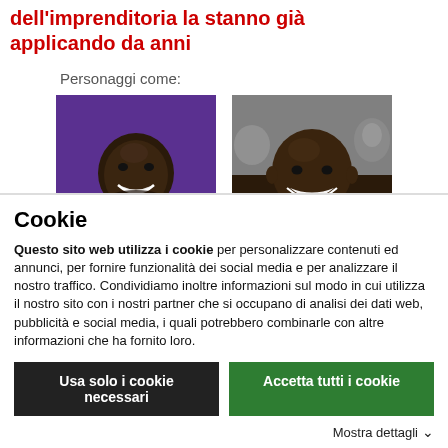dell'imprenditoria la stanno già applicando da anni
Personaggi come:
[Figure (photo): Photo of LeBron James in Lakers jersey]
[Figure (photo): Photo of Floyd Mayweather smiling]
Cookie
Questo sito web utilizza i cookie per personalizzare contenuti ed annunci, per fornire funzionalità dei social media e per analizzare il nostro traffico. Condividiamo inoltre informazioni sul modo in cui utilizza il nostro sito con i nostri partner che si occupano di analisi dei dati web, pubblicità e social media, i quali potrebbero combinarle con altre informazioni che ha fornito loro.
Usa solo i cookie necessari
Accetta tutti i cookie
Mostra dettagli